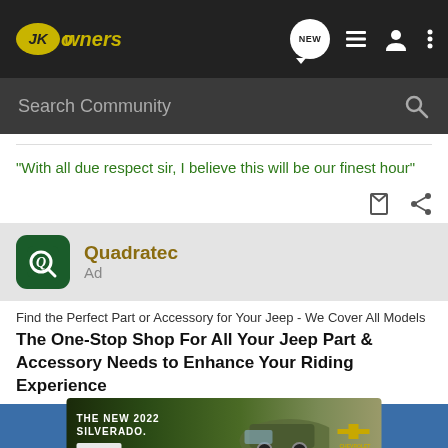[Figure (screenshot): JKOwners forum website header navigation bar with logo, NEW button bubble, list icon, user icon, and three-dot menu icon]
[Figure (screenshot): Search Community bar with magnifying glass icon]
"With all due respect sir, I believe this will be our finest hour"
Quadratec
Ad
Find the Perfect Part or Accessory for Your Jeep - We Cover All Models
The One-Stop Shop For All Your Jeep Part & Accessory Needs to Enhance Your Riding Experience
[Figure (screenshot): Chevrolet Silverado 2022 advertisement banner with truck image, THE NEW 2022 SILVERADO text, Explore button, and Chevrolet logo]